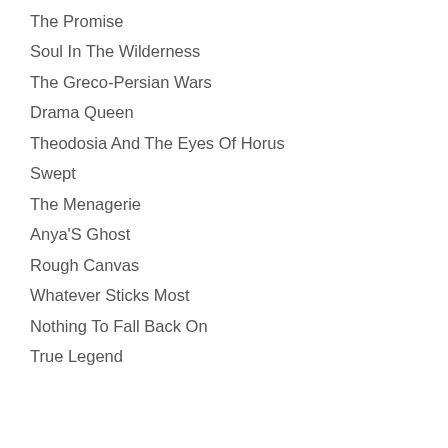Enormous Smallness
The Promise
Soul In The Wilderness
The Greco-Persian Wars
Drama Queen
Theodosia And The Eyes Of Horus
Swept
The Menagerie
Anya'S Ghost
Rough Canvas
Whatever Sticks Most
Nothing To Fall Back On
True Legend